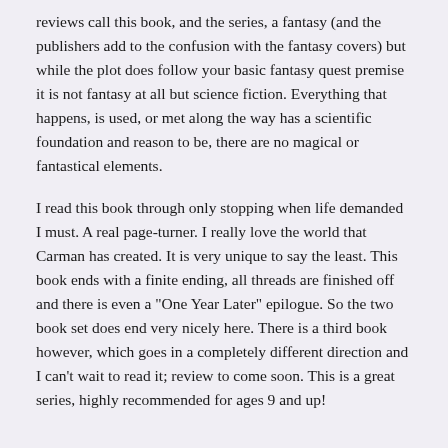reviews call this book, and the series, a fantasy (and the publishers add to the confusion with the fantasy covers) but while the plot does follow your basic fantasy quest premise it is not fantasy at all but science fiction. Everything that happens, is used, or met along the way has a scientific foundation and reason to be, there are no magical or fantastical elements.
I read this book through only stopping when life demanded I must. A real page-turner. I really love the world that Carman has created. It is very unique to say the least. This book ends with a finite ending, all threads are finished off and there is even a "One Year Later" epilogue. So the two book set does end very nicely here. There is a third book however, which goes in a completely different direction and I can't wait to read it; review to come soon. This is a great series, highly recommended for ages 9 and up!